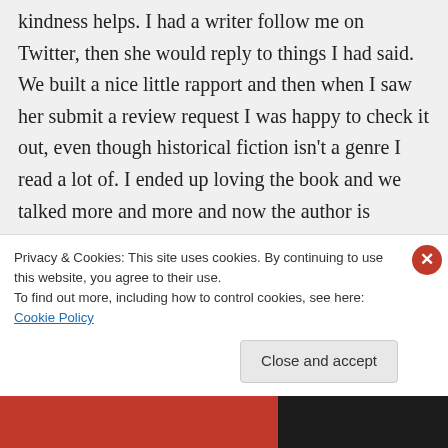kindness helps. I had a writer follow me on Twitter, then she would reply to things I had said. We built a nice little rapport and then when I saw her submit a review request I was happy to check it out, even though historical fiction isn't a genre I read a lot of. I ended up loving the book and we talked more and more and now the author is participating in a yearlong read-a-thon with me on 125Pages. (C.H. Armstrong & The Edge of Nowhere. it's a great read). I read
Privacy & Cookies: This site uses cookies. By continuing to use this website, you agree to their use.
To find out more, including how to control cookies, see here: Cookie Policy
Close and accept